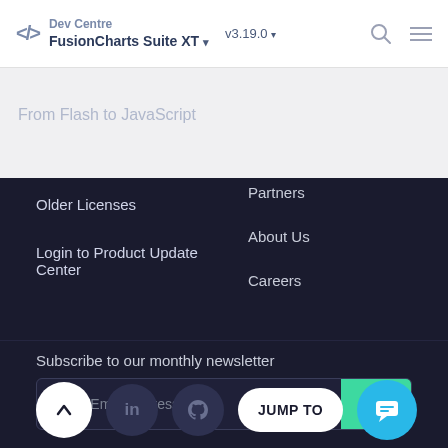Dev Centre / FusionCharts Suite XT ▾  v3.19.0 ▾
From Flash to JavaScript
Partners
Older Licenses
About Us
Login to Product Update Center
Careers
Subscribe to our monthly newsletter
Enter Email address
GO
JUMP TO